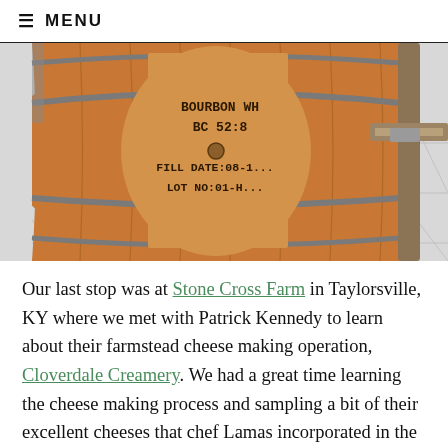≡ MENU
[Figure (photo): Close-up photograph of a bourbon whiskey barrel on a white tile floor. The barrel shows stamped text reading 'BOURBON WH BC 52:8 FILL DATE:08-1... LOT NO:01-H...' with a wooden stand or rack visible on the right side.]
Our last stop was at Stone Cross Farm in Taylorsville, KY where we met with Patrick Kennedy to learn about their farmstead cheese making operation, Cloverdale Creamery. We had a great time learning the cheese making process and sampling a bit of their excellent cheeses that chef Lamas incorporated in the evening's dinner.  Feeling a bit sleepy after a big lunch and a little bourbon, we headed back to the hotel